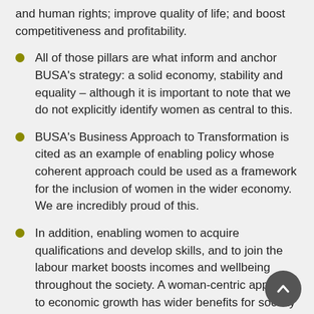and human rights; improve quality of life; and boost competitiveness and profitability.
All of those pillars are what inform and anchor BUSA's strategy: a solid economy, stability and equality – although it is important to note that we do not explicitly identify women as central to this.
BUSA's Business Approach to Transformation is cited as an example of enabling policy whose coherent approach could be used as a framework for the inclusion of women in the wider economy. We are incredibly proud of this.
In addition, enabling women to acquire qualifications and develop skills, and to join the labour market boosts incomes and wellbeing throughout the society. A woman-centric approach to economic growth has wider benefits for society including: raising healthier, better-educated children and the improved welfare of the family.